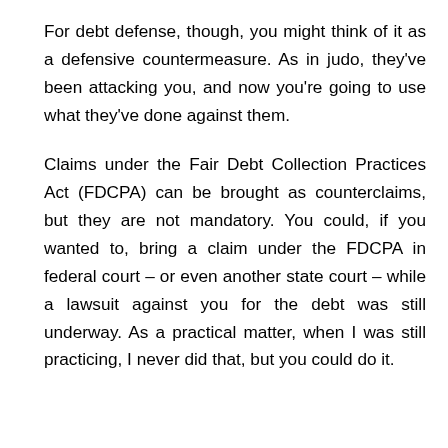For debt defense, though, you might think of it as a defensive countermeasure. As in judo, they've been attacking you, and now you're going to use what they've done against them.
Claims under the Fair Debt Collection Practices Act (FDCPA) can be brought as counterclaims, but they are not mandatory. You could, if you wanted to, bring a claim under the FDCPA in federal court – or even another state court – while a lawsuit against you for the debt was still underway. As a practical matter, when I was still practicing, I never did that, but you could do it.